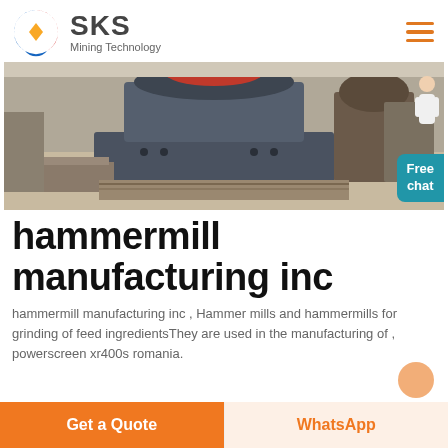SKS Mining Technology
[Figure (photo): Industrial hammer mill / cone crusher machine photographed in a factory warehouse setting. A blue chat bubble with 'Free chat' text overlays the bottom right corner. A customer service representative figure appears on the right edge.]
hammermill manufacturing inc
hammermill manufacturing inc , Hammer mills and hammermills for grinding of feed ingredientsThey are used in the manufacturing of , powerscreen xr400s romania.